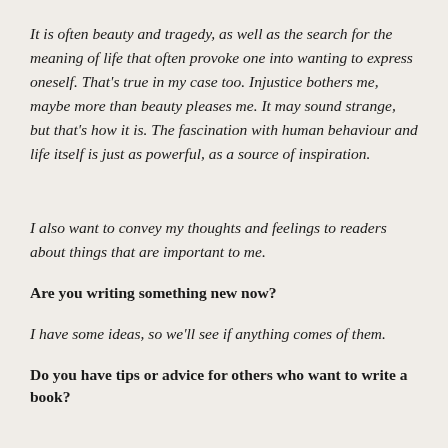It is often beauty and tragedy, as well as the search for the meaning of life that often provoke one into wanting to express oneself. That's true in my case too. Injustice bothers me, maybe more than beauty pleases me. It may sound strange, but that's how it is. The fascination with human behaviour and life itself is just as powerful, as a source of inspiration.
I also want to convey my thoughts and feelings to readers about things that are important to me.
Are you writing something new now?
I have some ideas, so we'll see if anything comes of them.
Do you have tips or advice for others who want to write a book?